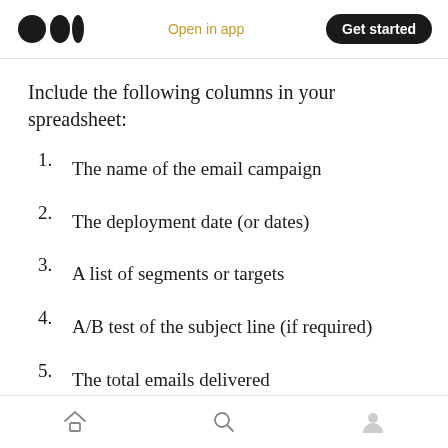Open in app | Get started
Include the following columns in your spreadsheet:
1. The name of the email campaign
2. The deployment date (or dates)
3. A list of segments or targets
4. A/B test of the subject line (if required)
5. The total emails delivered
6. High bounce rate
Home | Search | Profile